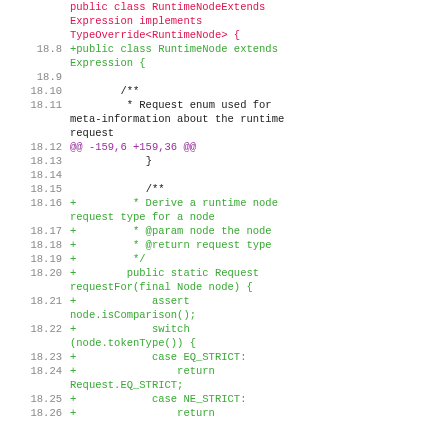Code diff showing RuntimeNode class extension and requestFor method addition, lines 18.8 through 18.26